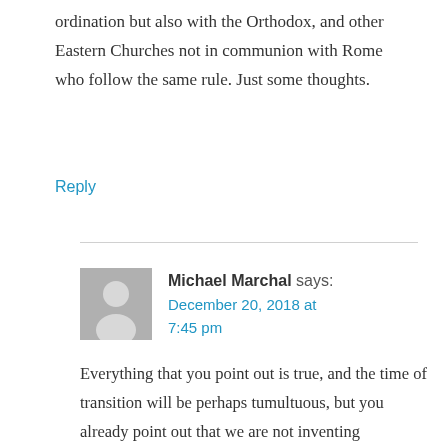ordination but also with the Orthodox, and other Eastern Churches not in communion with Rome who follow the same rule. Just some thoughts.
Reply
Michael Marchal says: December 20, 2018 at 7:45 pm
Everything that you point out is true, and the time of transition will be perhaps tumultuous, but you already point out that we are not inventing something new here. The Eastern Churches, not to